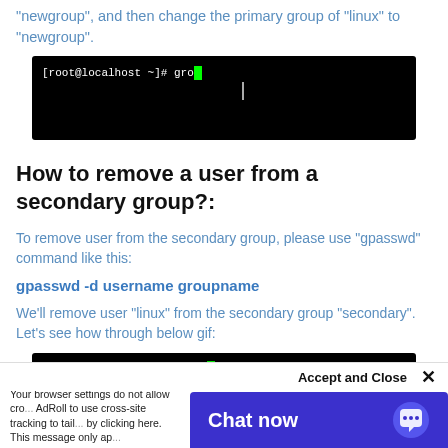“newgroup”, and then change the primary group of “linux” to “newgroup”.
[Figure (screenshot): Terminal window showing black background with command prompt [root@localhost ~]# gro with green block cursor]
How to remove a user from a secondary group?:
To remove user from the secondary group, please use “gpasswd” command like this:
gpasswd -d username groupname
We’ll remove user “linux” from the secondary group “secondary”. Let’s see how through below gif:
[Figure (screenshot): Terminal window showing black background with [root@localhost ~]# group with green block cursor]
Accept and Close ×
Your browser settings do not allow cross-site tracking. AdRoll to use cross-site tracking to tail... by clicking here. This message only ap...
[Figure (screenshot): Blue chat widget with Chat now label and chat icon]